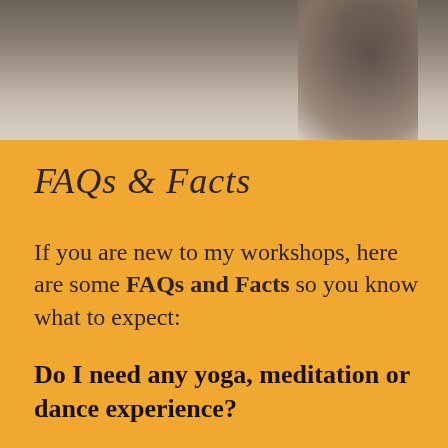[Figure (photo): Black and white/sepia toned photograph showing a partial face/head silhouette of a person in the upper right, with dark toned background]
FAQs & Facts
If you are new to my workshops, here are some FAQs and Facts so you know what to expect:
Do I need any yoga, meditation or dance experience?